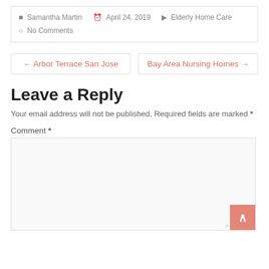Samantha Martin   April 24, 2019   Elderly Home Care   No Comments
← Arbor Terrace San Jose   Bay Area Nursing Homes →
Leave a Reply
Your email address will not be published. Required fields are marked *
Comment *